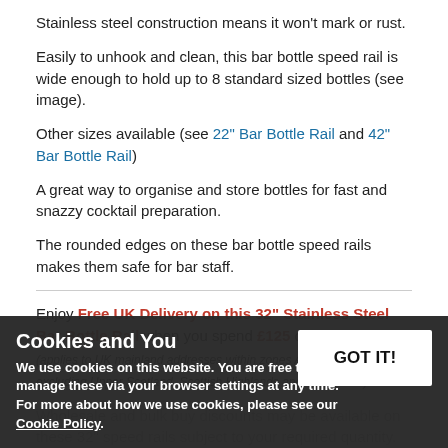Stainless steel construction means it won't mark or rust.
Easily to unhook and clean, this bar bottle speed rail is wide enough to hold up to 8 standard sized bottles (see image).
Other sizes available (see 22" Bar Bottle Rail and 42" Bar Bottle Rail)
A great way to organise and store bottles for fast and snazzy cocktail preparation.
The rounded edges on these bar bottle speed rails makes them safe for bar staff.
Enjoy Free UK Delivery on this 32" Stainless Steel Bar Bottle Rail when you spend £125 or more online! (applies to UK mainland addresses within zones A and B only excluding Upper Scotland, Scottish Highlands and UK Islands)
Wholesale and bulk buy discounts may be available on these 32" speed rails subject to your required quantity. Please call us to enquire.
Cookies and You
We use cookies on this website. You are free to manage these via your browser settings at any time. For more about how we use cookies, please see our Cookie Policy.